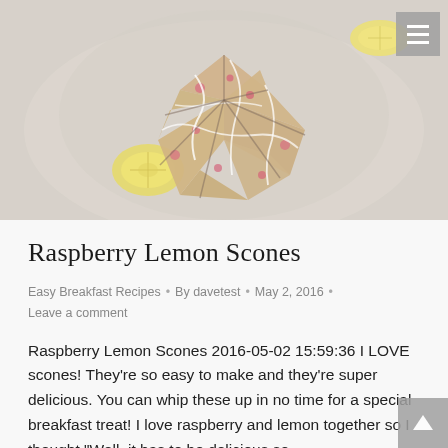[Figure (photo): Overhead photo of raspberry lemon scones arranged in a circle with white glaze drizzle and two halved lemons on a light surface]
Raspberry Lemon Scones
Easy Breakfast Recipes • By davetest • May 2, 2016 • Leave a comment
Raspberry Lemon Scones 2016-05-02 15:59:36 I LOVE scones! They're so easy to make and they're super delicious. You can whip these up in no time for a special breakfast treat! I love raspberry and lemon together so I thought "Well, it has to be delicious so